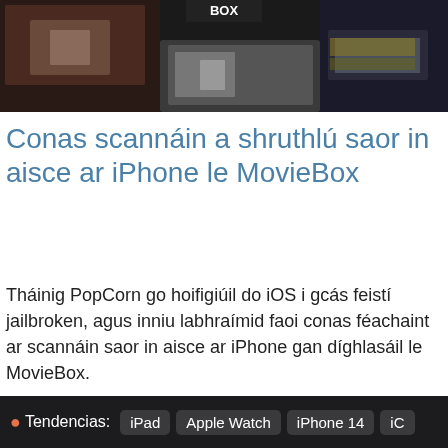[Figure (screenshot): Screenshot of MovieBox app interface showing movie thumbnails on a dark background with MovieBox logo at top center]
Conas scannáin a shruthlú saor in aisce ar iPhone le MovieBox
Tháinig PopCorn go hoifigiúil do iOS i gcás feistí jailbroken, agus inniu labhraímid faoi conas féachaint ar scannáin saor in aisce ar iPhone gan díghlasáil le MovieBox.
Tendencias: iPad | Apple Watch | iPhone 14 | iC